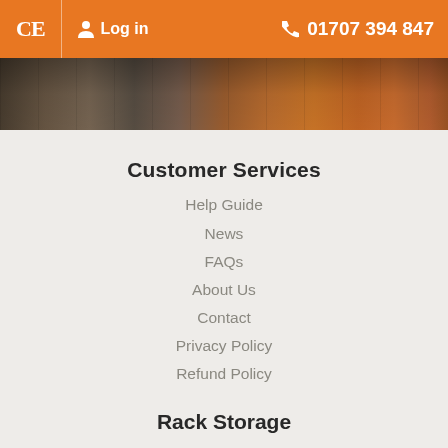CE  Log in  01707 394 847
[Figure (photo): Warehouse interior with orange racking/shelving and industrial equipment]
Customer Services
Help Guide
News
FAQs
About Us
Contact
Privacy Policy
Refund Policy
Rack Storage